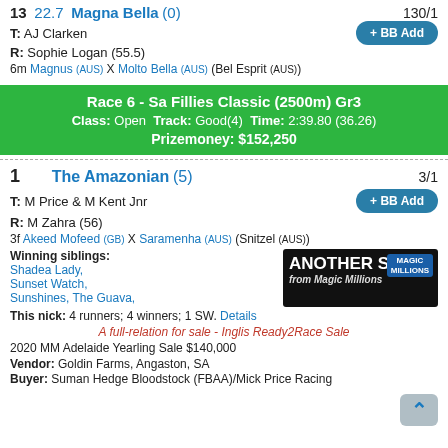13  22.7  Magna Bella (0)  130/1
T: AJ Clarken
R: Sophie Logan (55.5)
6m Magnus (AUS) X Molto Bella (AUS) (Bel Esprit (AUS))
Race 6 - Sa Fillies Classic (2500m) Gr3  Class: Open  Track: Good(4)  Time: 2:39.80 (36.26)  Prizemoney: $152,250
1  The Amazonian (5)  3/1
T: M Price & M Kent Jnr
R: M Zahra (56)
3f Akeed Mofeed (GB) X Saramenha (AUS) (Snitzel (AUS))
Winning siblings: Shadea Lady, Sunset Watch, Sunshines, The Guava,
[Figure (infographic): Advertisement: ANOTHER SW from Magic Millions, with Magic Millions logo]
This nick: 4 runners; 4 winners; 1 SW. Details
A full-relation for sale - Inglis Ready2Race Sale
2020 MM Adelaide Yearling Sale $140,000
Vendor: Goldin Farms, Angaston, SA
Buyer: Suman Hedge Bloodstock (FBAA)/Mick Price Racing